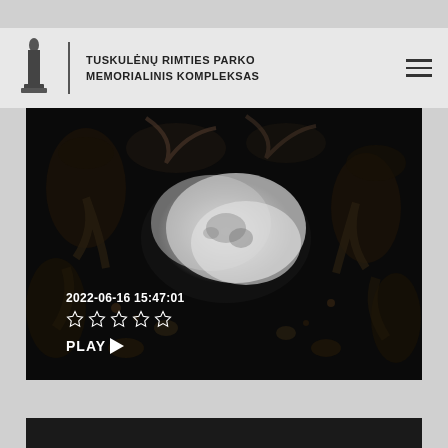[Figure (logo): Tuskulėnų Rimties Parko Memorialinis Kompleksas logo with candle icon and text]
[Figure (screenshot): Dark video thumbnail showing a white cloud-like formation against dark textured background. Timestamp 2022-06-16 15:47:01, five star rating (all empty), PLAY button shown at bottom left.]
[Figure (screenshot): Partial view of a second dark video thumbnail at the bottom of the page]